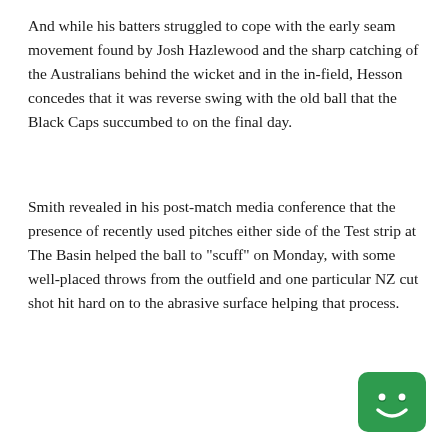And while his batters struggled to cope with the early seam movement found by Josh Hazlewood and the sharp catching of the Australians behind the wicket and in the in-field, Hesson concedes that it was reverse swing with the old ball that the Black Caps succumbed to on the final day.
Smith revealed in his post-match media conference that the presence of recently used pitches either side of the Test strip at The Basin helped the ball to "scuff" on Monday, with some well-placed throws from the outfield and one particular NZ cut shot hit hard on to the abrasive surface helping that process.
[Figure (logo): Green rounded square logo with a simple white smiley face icon]